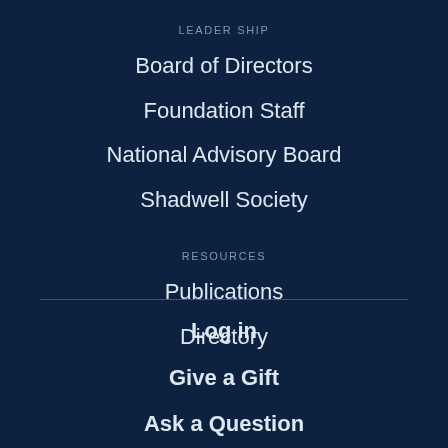LEADERSHIP
Board of Directors
Foundation Staff
National Advisory Board
Shadwell Society
RESOURCES
Publications
Directory
Log in
Give a Gift
Ask a Question